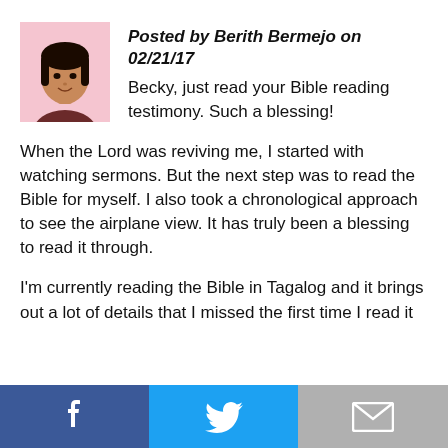[Figure (photo): Avatar photo of Berith Bermejo, a woman with dark hair against a pink background]
Posted by Berith Bermejo on 02/21/17
Becky, just read your Bible reading testimony. Such a blessing!
When the Lord was reviving me, I started with watching sermons. But the next step was to read the Bible for myself. I also took a chronological approach to see the airplane view. It has truly been a blessing to read it through.
I'm currently reading the Bible in Tagalog and it brings out a lot of details that I missed the first time I read it
[Figure (infographic): Social share buttons: Facebook (blue), Twitter (cyan/blue), Email (gray)]